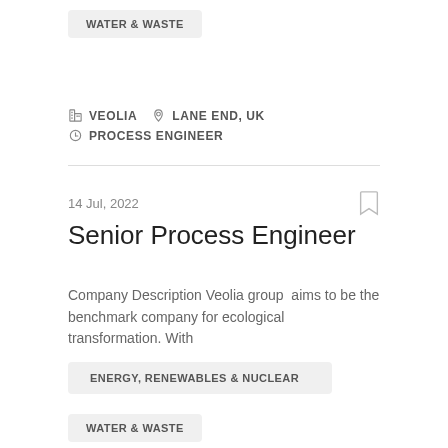WATER & WASTE
VEOLIA   LANE END, UK   PROCESS ENGINEER
14 Jul, 2022
Senior Process Engineer
Company Description Veolia group  aims to be the benchmark company for ecological transformation. With
ENERGY, RENEWABLES & NUCLEAR
WATER & WASTE